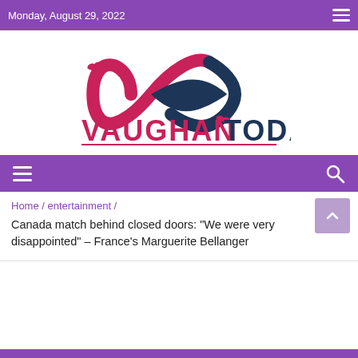Monday, August 29, 2022
[Figure (logo): Vaughan Today logo — an infinity symbol made of two stylized hands in pink and dark navy, with 'VAUGHAN TODAY' text below in bold, VAUGHAN in pink/magenta and TODAY in dark navy, with a red underline beneath]
Home / entertainment /
Canada match behind closed doors: "We were very disappointed" – France's Marguerite Bellanger